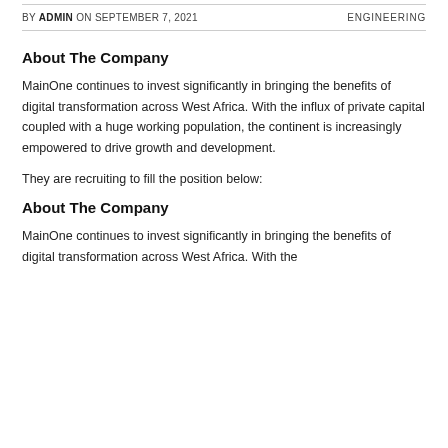BY ADMIN ON SEPTEMBER 7, 2021   ENGINEERING
About The Company
MainOne continues to invest significantly in bringing the benefits of digital transformation across West Africa. With the influx of private capital coupled with a huge working population, the continent is increasingly empowered to drive growth and development.
They are recruiting to fill the position below:
About The Company
MainOne continues to invest significantly in bringing the benefits of digital transformation across West Africa. With the